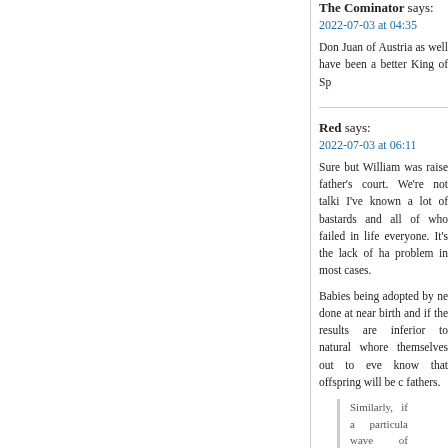The Cominator says:
2022-07-03 at 04:35
Don Juan of Austria as well have been a better King of Sp
Red says:
2022-07-03 at 06:11
Sure but William was raised father's court. We're not talki I've known a lot of bastards and all of who failed in life everyone. It's the lack of ha problem in most cases.
Babies being adopted by ne done at near birth and if the results are inferior to natural whore themselves out to eve know that offspring will be c fathers.
Similarly, if a particula wave of fatherless ch needs a better respo then terminate."
Expulsion was the common